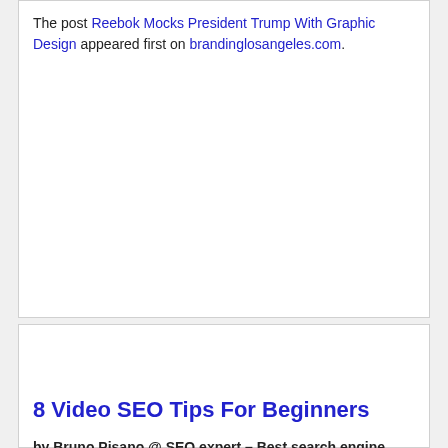The post Reebok Mocks President Trump With Graphic Design appeared first on brandinglosangeles.com.
8 Video SEO Tips For Beginners
by Bruno Pisano @ SEO expert – Best search engine optimization services